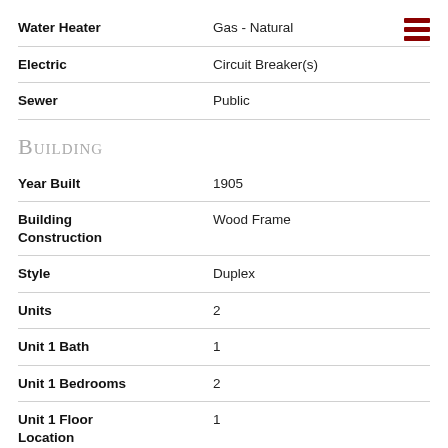| Field | Value |
| --- | --- |
| Water Heater | Gas - Natural |
| Electric | Circuit Breaker(s) |
| Sewer | Public |
Building
| Field | Value |
| --- | --- |
| Year Built | 1905 |
| Building Construction | Wood Frame |
| Style | Duplex |
| Units | 2 |
| Unit 1 Bath | 1 |
| Unit 1 Bedrooms | 2 |
| Unit 1 Floor Location | 1 |